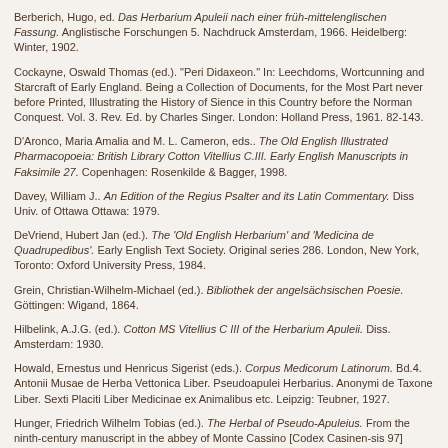Berberich, Hugo, ed. Das Herbarium Apuleii nach einer früh-mittelenglischen Fassung. Anglistische Forschungen 5. Nachdruck Amsterdam, 1966. Heidelberg: Winter, 1902.
Cockayne, Oswald Thomas (ed.). "Peri Didaxeon." In: Leechdoms, Wortcunning and Starcraft of Early England. Being a Collection of Documents, for the Most Part never before Printed, Illustrating the History of Sience in this Country before the Norman Conquest. Vol. 3. Rev. Ed. by Charles Singer. London: Holland Press, 1961. 82-143.
D'Aronco, Maria Amalia and M. L. Cameron, eds.. The Old English Illustrated Pharmacopoeia: British Library Cotton Vitellius C.III. Early English Manuscripts in Faksimile 27. Copenhagen: Rosenkilde & Bagger, 1998.
Davey, William J.. An Edition of the Regius Psalter and its Latin Commentary. Diss Univ. of Ottawa Ottawa: 1979.
DeVriend, Hubert Jan (ed.). The 'Old English Herbarium' and 'Medicina de Quadrupedibus'. Early English Text Society. Original series 286. London, New York, Toronto: Oxford University Press, 1984.
Grein, Christian-Wilhelm-Michael (ed.). Bibliothek der angelsächsischen Poesie. Göttingen: Wigand, 1864.
Hilbelink, A.J.G. (ed.). Cotton MS Vitellius C III of the Herbarium Apuleii. Diss. Amsterdam: 1930.
Howald, Ernestus und Henricus Sigerist (eds.). Corpus Medicorum Latinorum. Bd.4. Antonii Musae de Herba Vettonica Liber. Pseudoapulei Herbarius. Anonymi de Taxone Liber. Sexti Placiti Liber Medicinae ex Animalibus etc. Leipzig: Teubner, 1927.
Hunger, Friedrich Wilhelm Tobias (ed.). The Herbal of Pseudo-Apuleius. From the ninth-century manuscript in the abbey of Monte Cassino [Codex Casinen-sis 97] together with the first printed edition of Jon. Phil. de